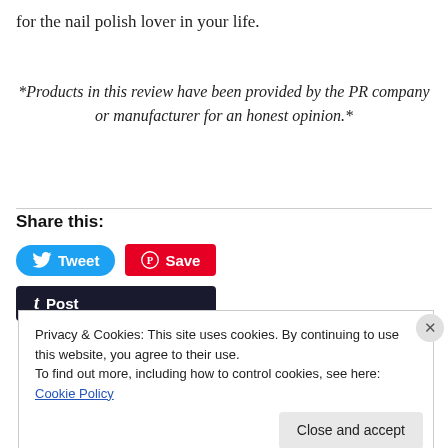for the nail polish lover in your life.
*Products in this review have been provided by the PR company or manufacturer for an honest opinion.*
Share this:
[Figure (other): Social share buttons: Tweet (Twitter/X, blue rounded), Save (Pinterest, red), Post (Tumblr, dark/black rounded rectangle)]
Privacy & Cookies: This site uses cookies. By continuing to use this website, you agree to their use.
To find out more, including how to control cookies, see here: Cookie Policy
Close and accept